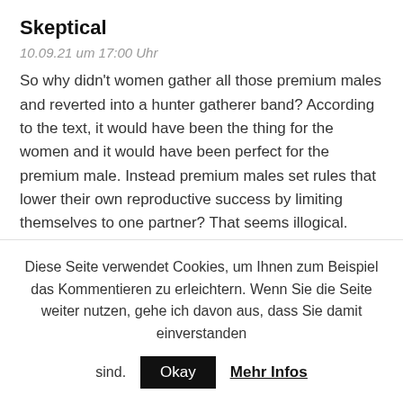Skeptical
10.09.21 um 17:00 Uhr
So why didn't women gather all those premium males and reverted into a hunter gatherer band? According to the text, it would have been the thing for the women and it would have been perfect for the premium male. Instead premium males set rules that lower their own reproductive success by limiting themselves to one partner? That seems illogical.
There is also the problem of resource distribution. Males (and females) are incentivized, not to care and
Diese Seite verwendet Cookies, um Ihnen zum Beispiel das Kommentieren zu erleichtern. Wenn Sie die Seite weiter nutzen, gehe ich davon aus, dass Sie damit einverstanden sind. Okay Mehr Infos